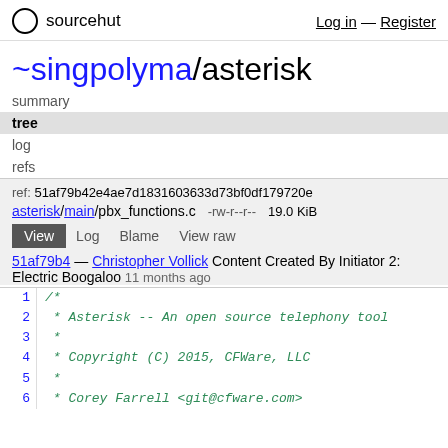sourcehut   Log in — Register
~singpolyma/asterisk
summary
tree
log
refs
ref: 51af79b42e4ae7d1831603633d73bf0df179720e
asterisk/main/pbx_functions.c   -rw-r--r--   19.0 KiB
View  Log  Blame  View raw
51af79b4 — Christopher Vollick Content Created By Initiator 2: Electric Boogaloo  11 months ago
/*
 * Asterisk -- An open source telephony tool
 *
 * Copyright (C) 2015, CFWare, LLC
 *
 * Corey Farrell <git@cfware.com>